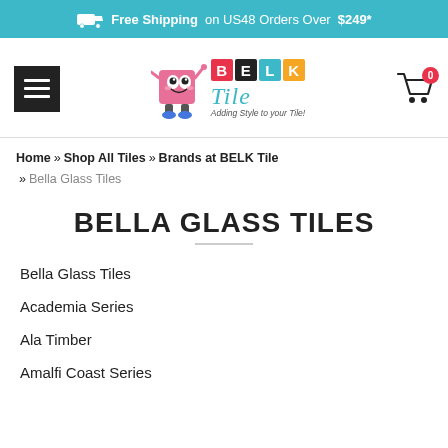Free Shipping on US48 Orders Over $249*
[Figure (logo): BELK Tile logo with mascot character (animated tile figure), colorful letter blocks spelling BELK, the word Tile in teal italic, and tagline Adding Style to your Tile!]
Home » Shop All Tiles » Brands at BELK Tile » Bella Glass Tiles
BELLA GLASS TILES
Bella Glass Tiles
Academia Series
Ala Timber
Amalfi Coast Series